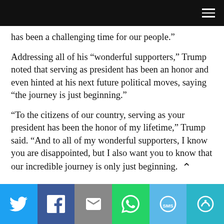[navigation bar]
has been a challenging time for our people.”
Addressing all of his “wonderful supporters,” Trump noted that serving as president has been an honor and even hinted at his next future political moves, saying “the journey is just beginning.”
“To the citizens of our country, serving as your president has been the honor of my lifetime,” Trump said. “And to all of my wonderful supporters, I know you are disappointed, but I also want you to know that our incredible journey is only just beginning.
[Share bar: Twitter, Facebook, Email, WhatsApp, SMS, More]